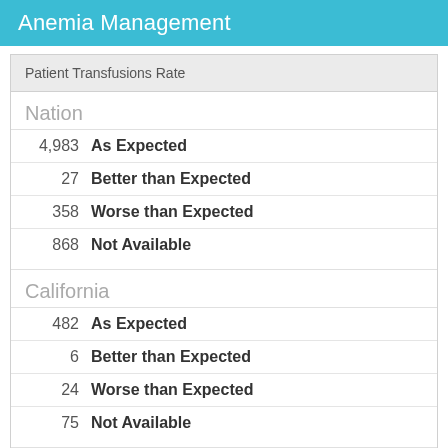Anemia Management
Patient Transfusions Rate
Nation
| Count | Category |
| --- | --- |
| 4,983 | As Expected |
| 27 | Better than Expected |
| 358 | Worse than Expected |
| 868 | Not Available |
California
| Count | Category |
| --- | --- |
| 482 | As Expected |
| 6 | Better than Expected |
| 24 | Worse than Expected |
| 75 | Not Available |
Brea, California